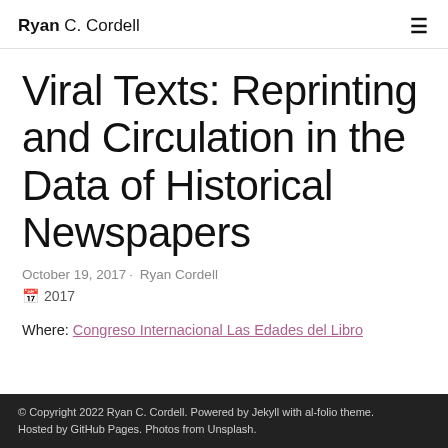Ryan C. Cordell
Viral Texts: Reprinting and Circulation in the Data of Historical Newspapers
October 19, 2017· Ryan Cordell
2017
Where: Congreso Internacional Las Edades del Libro
© Copyright 2022 Ryan C. Cordell. Powered by Jekyll with al-folio theme. Hosted by GitHub Pages. Photos from Unsplash.